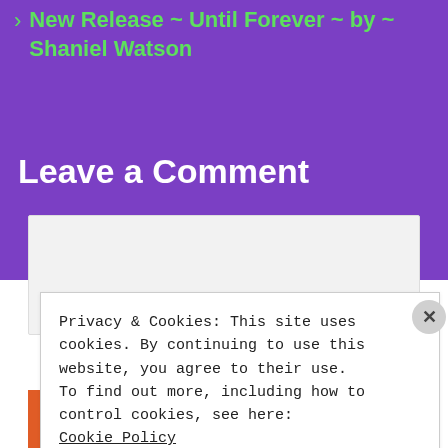New Release ~ Until Forever ~ by ~ Shaniel Watson
Leave a Comment
[Figure (screenshot): Comment text input box, light gray background]
Privacy & Cookies: This site uses cookies. By continuing to use this website, you agree to their use.
To find out more, including how to control cookies, see here:
Cookie Policy
Close and accept
[Figure (infographic): DuckDuckGo advertisement banner: 'with more privacy. All in One Free App' with DuckDuckGo logo on dark background]